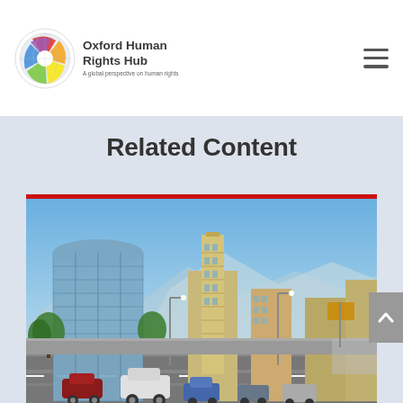Oxford Human Rights Hub — A global perspective on human rights
Related Content
[Figure (photo): Photograph of a city street with modern glass skyscrapers, tall residential towers, tree-lined boulevard, cars in traffic, and mountains visible in the background under a blue sky. A red horizontal bar appears at the top of the image card.]